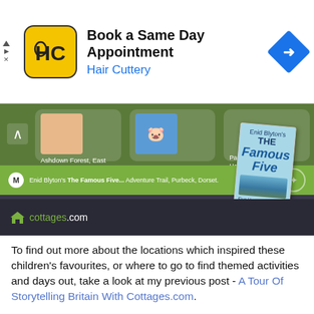[Figure (screenshot): Advertisement banner for Hair Cuttery: 'Book a Same Day Appointment' with Hair Cuttery logo and blue navigation diamond icon]
[Figure (screenshot): Screenshot of cottages.com website showing Famous Five Adventure Trail, Purbeck, Dorset themed content with book cover of The Famous Five by Enid Blyton]
To find out more about the locations which inspired these children's favourites, or where to go to find themed activities and days out, take a look at my previous post - A Tour Of Storytelling Britain With Cottages.com.
The Roald Dahl Museum And Story Centre can be found down in Great Missenden, Buckinghamshire, where you can even see his original and infamous 'Writing Hut', the garden shed in which he wrote his children's stories for over 30